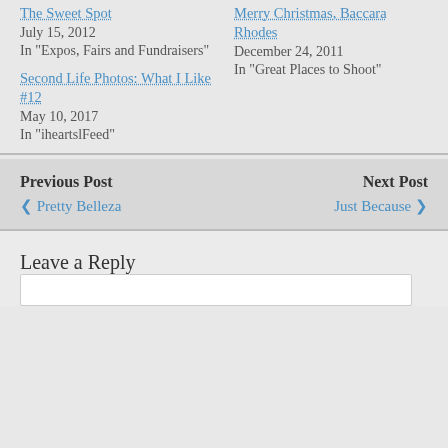The Sweet Spot — July 15, 2012 — In "Expos, Fairs and Fundraisers"
Merry Christmas, Baccara Rhodes — December 24, 2011 — In "Great Places to Shoot"
Second Life Photos: What I Like #12 — May 10, 2017 — In "iheartslFeed"
Previous Post ❮ Pretty Belleza
Next Post Just Because ❯
Leave a Reply